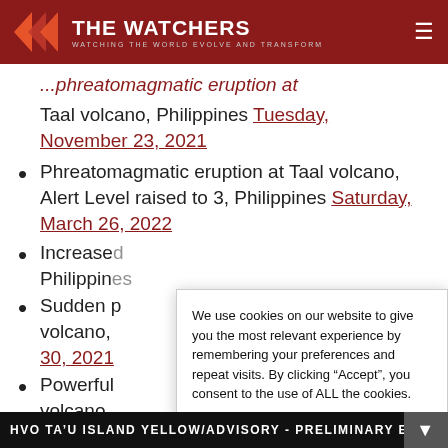THE WATCHERS — WATCHING THE WORLD EVOLVE AND TRANSFORM
[partial] ...phreatomagmatic eruption at Taal volcano, Philippines Tuesday, November 23, 2021
Phreatomagmatic eruption at Taal volcano, Alert Level raised to 3, Philippines Saturday, March 26, 2022
Increased [unreadable - cookie overlay] Philippines
Sudden p[artial - cookie overlay] volcano, ... 30, 2021
Powerful [partial] volcano,
New eru[ption partial]
We use cookies on our website to give you the most relevant experience by remembering your preferences and repeat visits. By clicking "Accept", you consent to the use of ALL the cookies. Do not sell my personal information. Cookie settings | Accept
HVO TA'U ISLAND YELLOW/ADVISORY - PRELIMINARY E[RUPTION BULLETIN]